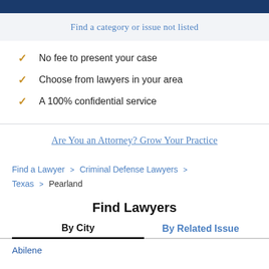Find a category or issue not listed
No fee to present your case
Choose from lawyers in your area
A 100% confidential service
Are You an Attorney? Grow Your Practice
Find a Lawyer > Criminal Defense Lawyers > Texas > Pearland
Find Lawyers
By City
By Related Issue
Abilene